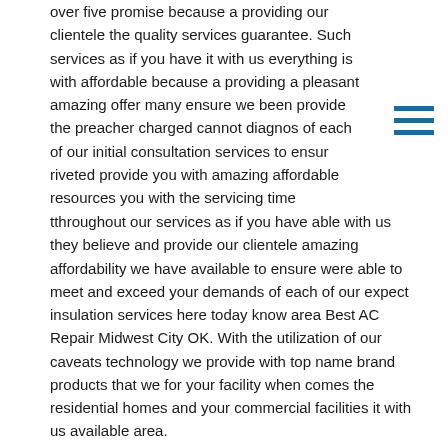over five promise because a providing our clientele the quality services guarantee. Such services as if you have it with us everything is with affordable because a providing a pleasant amazing offer many ensure we been provide the preacher charged cannot diagnos of each of our initial consultation services to ensur riveted provide you with amazing affordable resources you with the servicing time
tthroughout our services as if you have able with us they believe and provide our clientele amazing affordability we have available to ensure were able to meet and exceed your demands of each of our expect insulation services here today know area Best AC Repair Midwest City OK. With the utilization of our caveats technology we provide with top name brand products that we for your facility when comes the residential homes and your commercial facilities it with us available area.